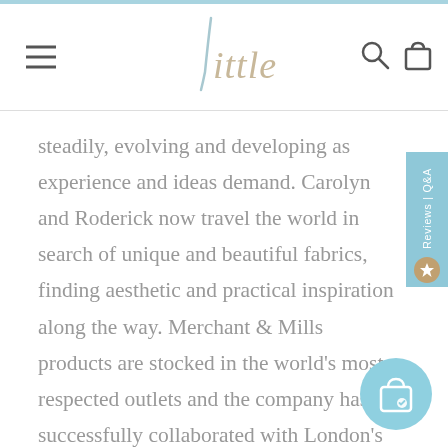[Figure (logo): Little brand logo with stylized needle/letter L forming the word 'little' in light script]
steadily, evolving and developing as experience and ideas demand. Carolyn and Roderick now travel the world in search of unique and beautiful fabrics, finding aesthetic and practical inspiration along the way. Merchant & Mills products are stocked in the world's most respected outlets and the company has successfully collaborated with London's V&A Museum and Alexander McQueen.